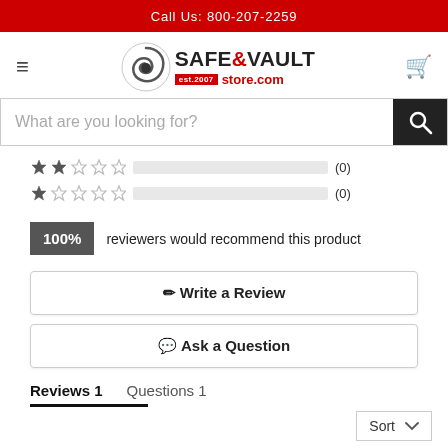Call Us: 800-207-2259
[Figure (logo): Safe & Vault Store logo with circular swirl icon and text 'SAFE&VAULT est. 2007 store.com']
What are you looking for?
[Figure (infographic): Star rating rows: 2-star with empty bar (0), 1-star with empty bar (0)]
100% reviewers would recommend this product
Write a Review
Ask a Question
Reviews 1   Questions 1
Sort